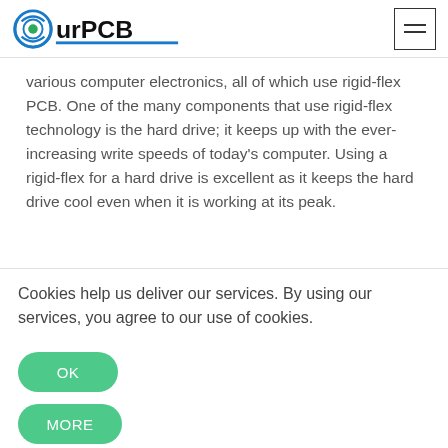OurPCB
various computer electronics, all of which use rigid-flex PCB. One of the many components that use rigid-flex technology is the hard drive; it keeps up with the ever-increasing write speeds of today's computer. Using a rigid-flex for a hard drive is excellent as it keeps the hard drive cool even when it is working at its peak.
Cookies help us deliver our services. By using our services, you agree to our use of cookies.
OK
MORE